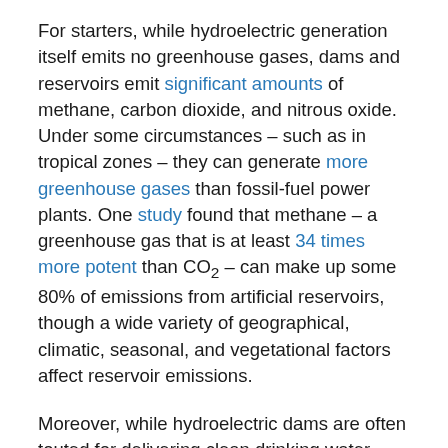For starters, while hydroelectric generation itself emits no greenhouse gases, dams and reservoirs emit significant amounts of methane, carbon dioxide, and nitrous oxide. Under some circumstances – such as in tropical zones – they can generate more greenhouse gases than fossil-fuel power plants. One study found that methane – a greenhouse gas that is at least 34 times more potent than CO₂ – can make up some 80% of emissions from artificial reservoirs, though a wide variety of geographical, climatic, seasonal, and vegetational factors affect reservoir emissions.
Moreover, while hydroelectric dams are often touted for delivering clean drinking water, controlling floods, and supporting irrigation, they also change river temperatures and water quality and impede the flow of nutrient-rich